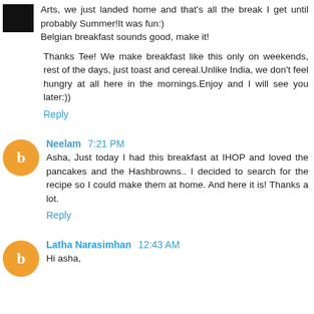Arts, we just landed home and that's all the break I get until probably Summer!It was fun:) Belgian breakfast sounds good, make it!
Thanks Tee! We make breakfast like this only on weekends, rest of the days, just toast and cereal.Unlike India, we don't feel hungry at all here in the mornings.Enjoy and I will see you later:))
Reply
Neelam 7:21 PM
Asha, Just today I had this breakfast at IHOP and loved the pancakes and the Hashbrowns.. I decided to search for the recipe so I could make them at home. And here it is! Thanks a lot.
Reply
Latha Narasimhan 12:43 AM
Hi asha,